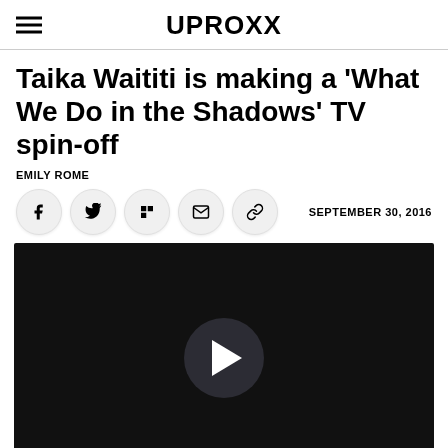UPROXX
Taika Waititi is making a ‘What We Do in the Shadows’ TV spin-off
EMILY ROME
SEPTEMBER 30, 2016
[Figure (screenshot): Video player with dark background and circular play button in the center]